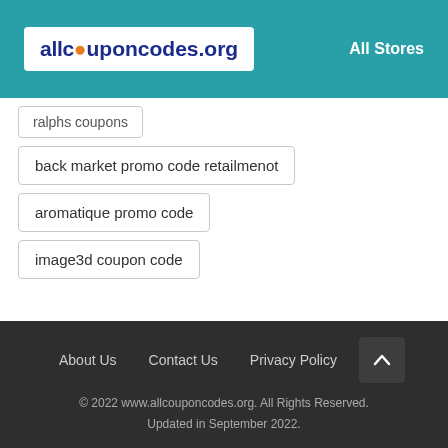[Figure (logo): allcouponcodes.org logo with orange dot replacing the 'o' in 'couponcodes']
All Stores
ralphs coupons
back market promo code retailmenot
aromatique promo code
image3d coupon code
About Us   Contact Us   Privacy Policy
© 2022 www.allcouponcodes.org. All Rights Reserved. Updated in September 2022.